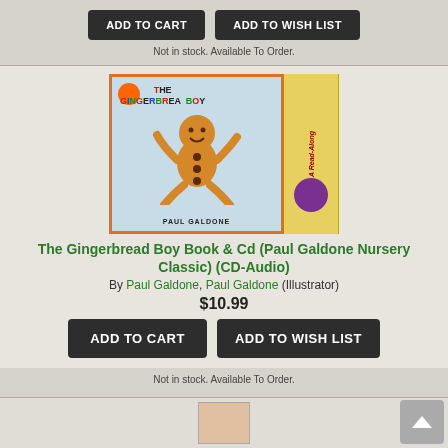[Figure (other): Two dark buttons: ADD TO CART and ADD TO WISH LIST at the top of the page]
Not in stock. Available To Order.
[Figure (photo): Book cover of The Gingerbread Boy by Paul Galdone with a gingerbread man illustration and CD spine]
The Gingerbread Boy Book & Cd (Paul Galdone Nursery Classic) (CD-Audio)
By Paul Galdone, Paul Galdone (Illustrator)
$10.99
[Figure (other): Two dark buttons: ADD TO CART and ADD TO WISH LIST]
Not in stock. Available To Order.